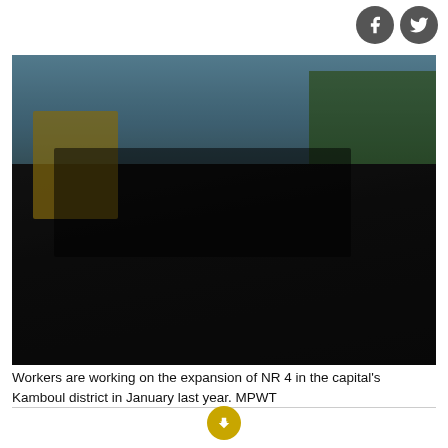[Figure (photo): Workers paving a road (NR 4 expansion in Kamboul district), with road paving machinery and construction crew on freshly laid asphalt, trees and utility poles visible in background.]
Workers are working on the expansion of NR 4 in the capital's Kamboul district in January last year. MPWT